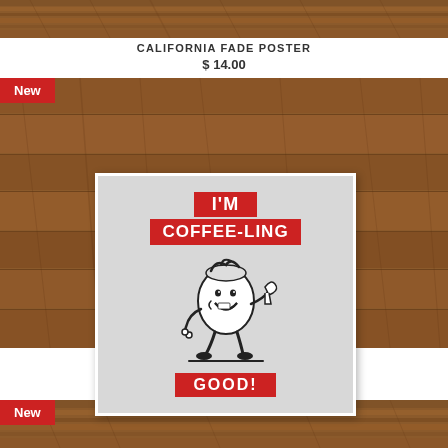[Figure (photo): Wood plank background strip at top of page]
CALIFORNIA FADE POSTER
$ 14.00
[Figure (photo): Product listing image: coffee cup mascot poster 'I'M COFFEE-LING GOOD!' on wood background with red 'New' badge]
COFFEELING GOOD POSTER
$ 14.00
[Figure (photo): Bottom wood plank background strip with red 'New' badge visible]